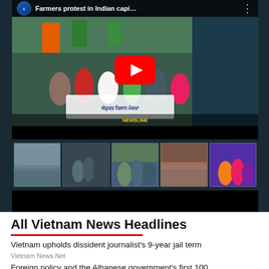[Figure (screenshot): YouTube embedded video player showing 'Farmers protest in Indian capi...' with a crowd thumbnail, YouTube play button, and a row of 5 related video thumbnails below]
All Vietnam News Headlines
Vietnam upholds dissident journalist's 9-year jail term
Vietnam News.Net
Foreign policy and the Albanese government's first 100